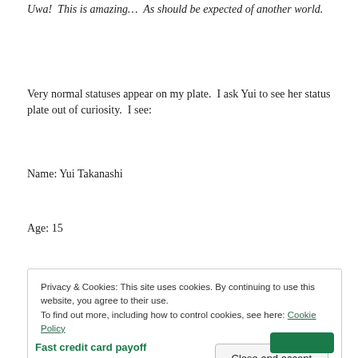Uwa!  This is amazing…  As should be expected of another world.
Very normal statuses appear on my plate.  I ask Yui to see her status plate out of curiosity.  I see:
Name: Yui Takanashi
Age: 15
Privacy & Cookies: This site uses cookies. By continuing to use this website, you agree to their use.
To find out more, including how to control cookies, see here: Cookie Policy
Close and accept